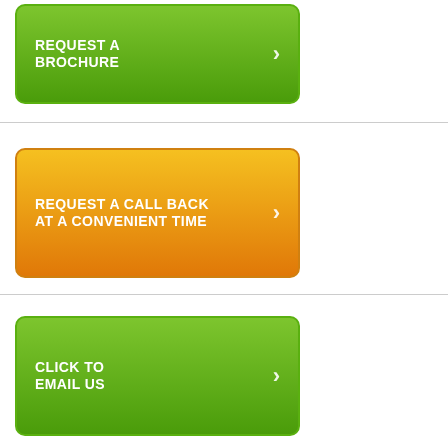[Figure (infographic): Green rounded rectangle button with white bold text 'REQUEST A BROCHURE' and white right-arrow chevron on the right]
[Figure (infographic): Orange/yellow gradient rounded rectangle button with white bold text 'REQUEST A CALL BACK AT A CONVENIENT TIME' and white right-arrow chevron on the right]
[Figure (infographic): Green rounded rectangle button with white bold text 'CLICK TO EMAIL US' and white right-arrow chevron on the right]